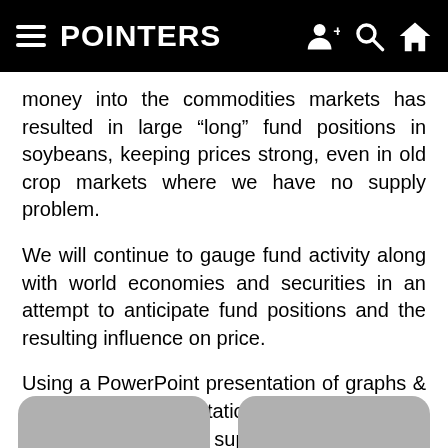POINTERS
money into the commodities markets has resulted in large “long” fund positions in soybeans, keeping prices strong, even in old crop markets where we have no supply problem.
We will continue to gauge fund activity along with world economies and securities in an attempt to anticipate fund positions and the resulting influence on price.
Using a PowerPoint presentation of graphs & charts, this presentation will explore the current and historical supply & demand of the US and world soy complex. A verbal explanation will accompany each graph & chart.